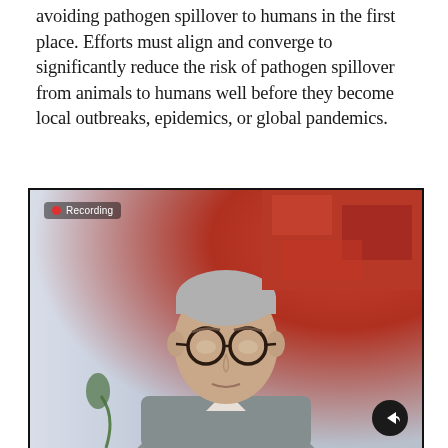avoiding pathogen spillover to humans in the first place. Efforts must align and converge to significantly reduce the risk of pathogen spillover from animals to humans well before they become local outbreaks, epidemics, or global pandemics.
[Figure (screenshot): Video call screenshot of a man wearing glasses and a gray suit jacket, seated in front of a light background with a red/orange abstract painting. A red 'Recording' badge appears in the top-left corner of the video frame. A share/forward icon button appears in the bottom-right corner.]